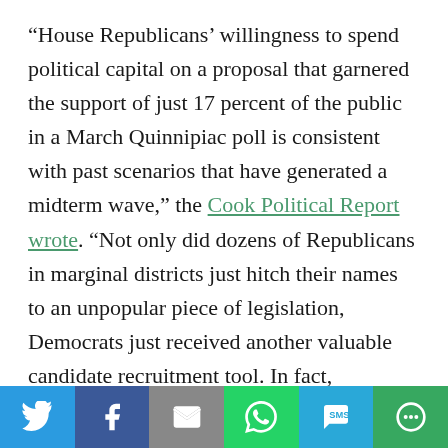“House Republicans’ willingness to spend political capital on a proposal that garnered the support of just 17 percent of the public in a March Quinnipiac poll is consistent with past scenarios that have generated a midterm wave,” the Cook Political Report wrote. “Not only did dozens of Republicans in marginal districts just hitch their names to an unpopular piece of legislation, Democrats just received another valuable candidate recruitment tool. In fact, Democrats aren’t so much recruiting candidates as they are overwhelmed by a deluge of eager newcomers, including doctors and veterans in traditionally red seats who have no political record for the GOP to attack – almost a mirror image of
[Figure (infographic): Social share bar with icons for Twitter, Facebook, Email, WhatsApp, SMS, and More]